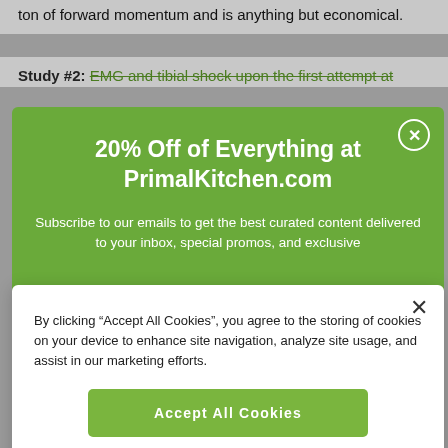ton of forward momentum and is anything but economical.
Study #2: EMG and tibial shock upon the first attempt at
20% Off of Everything at PrimalKitchen.com
Subscribe to our emails to get the best curated content delivered to your inbox, special promos, and exclusive
By clicking “Accept All Cookies”, you agree to the storing of cookies on your device to enhance site navigation, analyze site usage, and assist in our marketing efforts.
Accept All Cookies
Cookies Settings